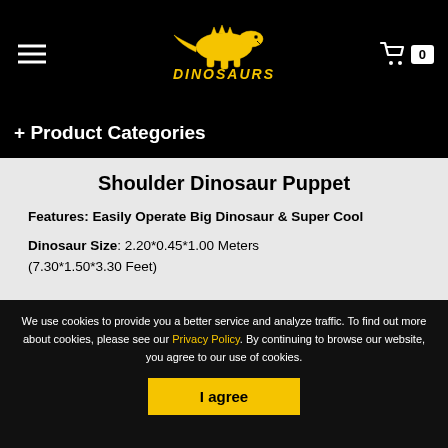DINOSAURS (logo) — navigation header with hamburger menu and cart (0 items)
+ Product Categories
Shoulder Dinosaur Puppet
Features: Easily Operate Big Dinosaur & Super Cool
Dinosaur Size: 2.20*0.45*1.00 Meters (7.30*1.50*3.30 Feet)
We use cookies to provide you a better service and analyze traffic. To find out more about cookies, please see our Privacy Policy. By continuing to browse our website, you agree to our use of cookies.
I agree